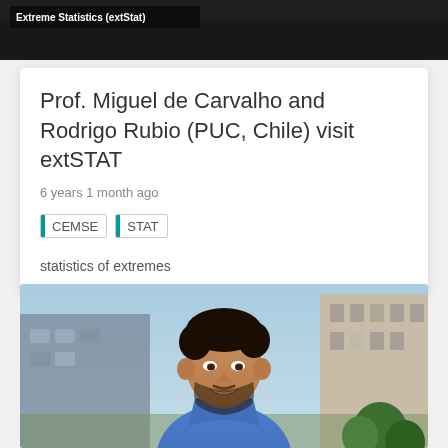[Figure (screenshot): Top cropped banner image showing blurred background with text overlay reading 'Extreme Statistics (extStat)']
Prof. Miguel de Carvalho and Rodrigo Rubio (PUC, Chile) visit extSTAT
6 years 1 month ago
CEMSE  STAT
statistics of extremes
[Figure (photo): Photo of a smiling man with dark curly hair and beard, wearing a blue shirt, standing outdoors in front of a building with sky and green plants in the background]